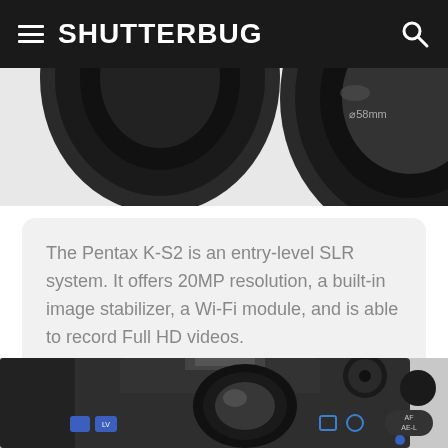SHUTTERBUG
[Figure (photo): Two camera lenses viewed from front, partially cropped at top of page. Right lens shows 58mm marking.]
The Pentax K-S2 is an entry-level SLR system. It offers 20MP resolution, a built-in image stabilizer, a Wi-Fi module, and is able to record Full HD videos.
[Figure (photo): Pentax K-S2 DSLR camera body viewed from rear, showing viewfinder eyepiece, command dial, AF/AE-L button, and other controls. Camera is black.]